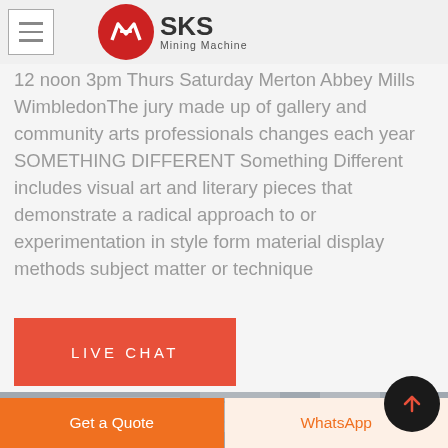SKS Mining Machine
12 noon 3pm Thurs Saturday Merton Abbey Mills WimbledonThe jury made up of gallery and community arts professionals changes each year SOMETHING DIFFERENT Something Different includes visual art and literary pieces that demonstrate a radical approach to or experimentation in style form material display methods subject matter or technique
[Figure (screenshot): Orange LIVE CHAT button]
[Figure (photo): Industrial/mining machine interior photo]
[Figure (other): Dark circular up-arrow button]
Get a Quote
WhatsApp